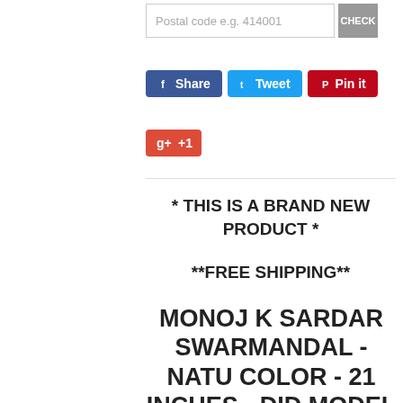Postal code e.g. 414001
[Figure (screenshot): Social sharing buttons: Facebook Share (blue), Tweet (light blue), Pin it (red), Google +1 (red)]
* THIS IS A BRAND NEW PRODUCT *
**FREE SHIPPING**
MONOJ K SARDAR SWARMANDAL - NATU COLOR - 21 INCHES - DID MODEL